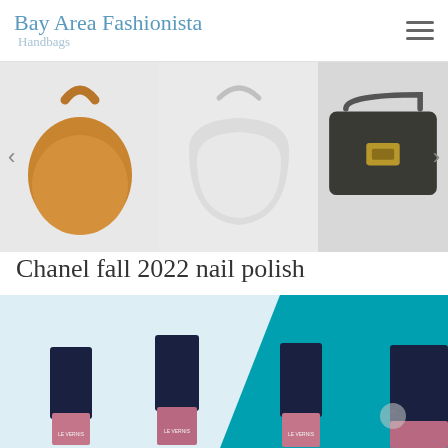Bay Area Fashionista
Handbags
[Figure (photo): Carousel of three handbags: a tan/caramel leather hobo bag, a white crescent-shaped shoulder bag, and a dark olive/black structured crossbody bag with gold hardware. Navigation arrows on left and right sides.]
Chanel fall 2022 nail polish
[Figure (photo): Photo of Chanel Le Vernis nail polish bottles in mauve/rose shades arranged against a light blue and teal background. Three bottles are fully visible with 'LE VERNIS' text, and a fourth partially visible on the right edge.]